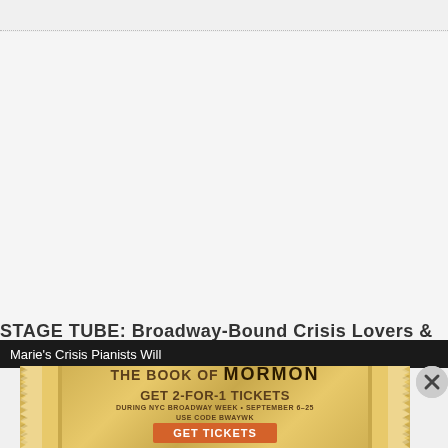STAGE TUBE: Broadway-Bound Crisis Lovers &
Marie's Crisis Pianists Will
[Figure (illustration): Advertisement for The Book of Mormon musical. Gold starburst patterned background with text: THE BOOK OF MORMON, GET 2-FOR-1 TICKETS, DURING NYC BROADWAY WEEK • SEPTEMBER 6-25, USE CODE BWAYWK, GET TICKETS button in orange.]
[Figure (illustration): Close button (X) circle in the upper right of the ad overlay.]